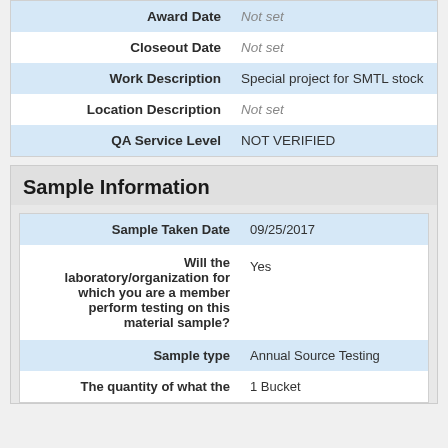| Field | Value |
| --- | --- |
| Award Date | Not set |
| Closeout Date | Not set |
| Work Description | Special project for SMTL stock |
| Location Description | Not set |
| QA Service Level | NOT VERIFIED |
Sample Information
| Field | Value |
| --- | --- |
| Sample Taken Date | 09/25/2017 |
| Will the laboratory/organization for which you are a member perform testing on this material sample? | Yes |
| Sample type | Annual Source Testing |
| The quantity of what the | 1 Bucket |